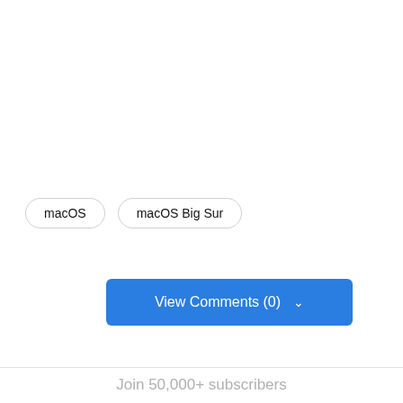macOS
macOS Big Sur
View Comments (0)
Join 50,000+ subscribers